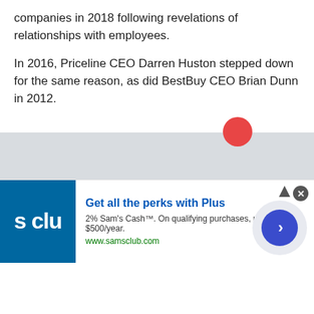companies in 2018 following revelations of relationships with employees.
In 2016, Priceline CEO Darren Huston stepped down for the same reason, as did BestBuy CEO Brian Dunn in 2012.
[Figure (other): Gray advertisement placeholder area with Sam's Club ad banner at the bottom]